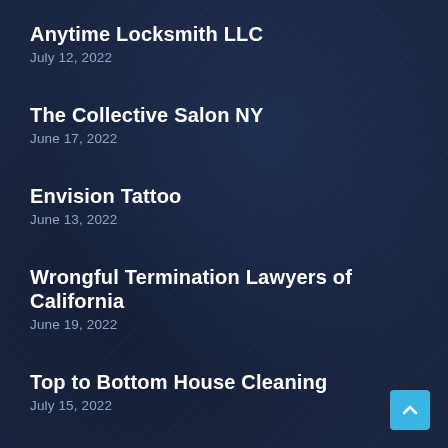Anytime Locksmith LLC
July 12, 2022
The Collective Salon NY
June 17, 2022
Envision Tattoo
June 13, 2022
Wrongful Termination Lawyers of California
June 19, 2022
Top to Bottom House Cleaning
July 15, 2022